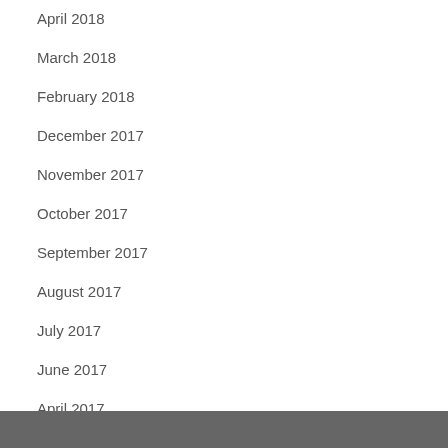April 2018
March 2018
February 2018
December 2017
November 2017
October 2017
September 2017
August 2017
July 2017
June 2017
April 2017
February 2017